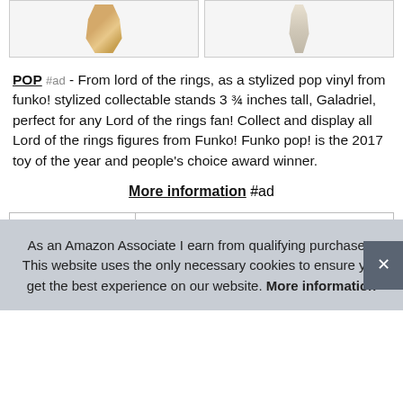[Figure (photo): Two product images side by side at the top of the page, partially cropped]
POP #ad - From lord of the rings, as a stylized pop vinyl from funko! stylized collectable stands 3 ¾ inches tall, Galadriel, perfect for any Lord of the rings fan! Collect and display all Lord of the rings figures from Funko! Funko pop! is the 2017 toy of the year and people's choice award winner.
More information #ad
| Brand | POP #ad |
| Ma |  |
|  |  |
| Weight | 0.34 Pounds |
As an Amazon Associate I earn from qualifying purchases. This website uses the only necessary cookies to ensure you get the best experience on our website. More information